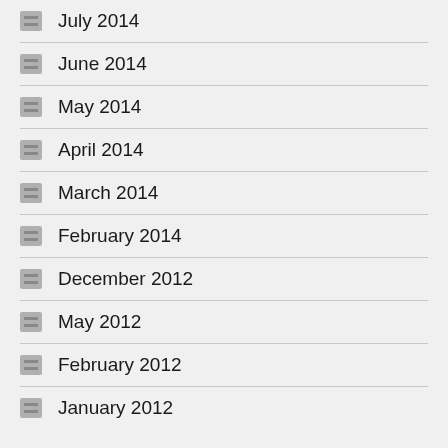July 2014
June 2014
May 2014
April 2014
March 2014
February 2014
December 2012
May 2012
February 2012
January 2012